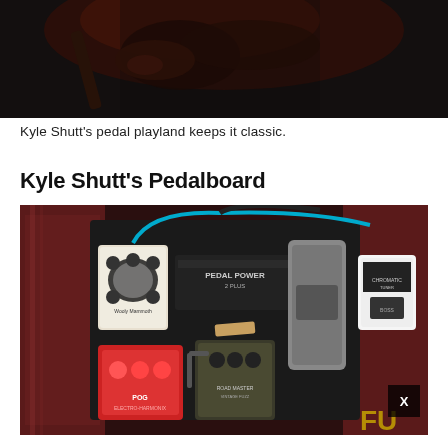[Figure (photo): Musician playing guitar on stage in dim red/dark lighting, close-up of hands on guitar neck]
Kyle Shutt's pedal playland keeps it classic.
Kyle Shutt's Pedalboard
[Figure (photo): Kyle Shutt's pedalboard with multiple guitar pedals including POG, Zvex Wooly Mammoth, wah pedal, Chromatic Tuner, and a Voodoo Lab Pedal Power 2 Plus power supply on a patterned rug background]